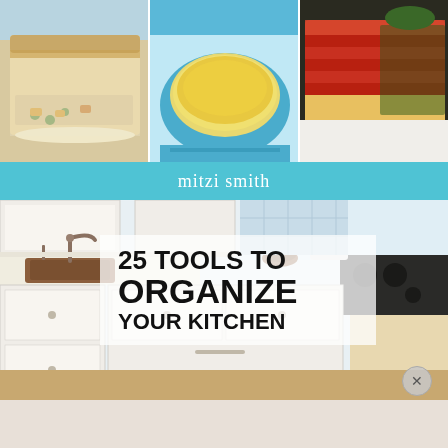[Figure (photo): Three food photos side by side: chicken pot pie slice, cheesy casserole in blue dish, and lasagna]
mitzi smith
[Figure (photo): Modern white kitchen with wood countertops, sink, cabinets, and gas stove]
25 TOOLS TO ORGANIZE YOUR KITCHEN
[Figure (other): Close button (X) circle in bottom right corner]